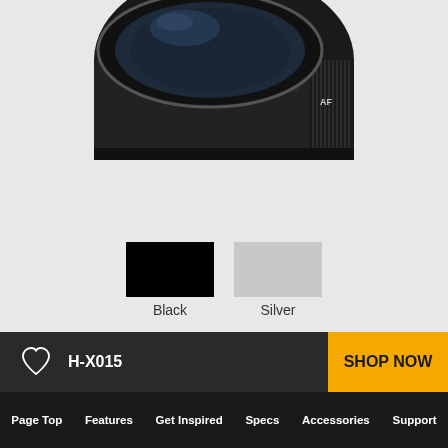[Figure (photo): Partial view of a black camera lens (Panasonic H-X015) showing the front element, aperture ring with markings including f/2 and f/2.8, and textured focus ring, on a light gray background.]
[Figure (infographic): Two color swatches: a black rectangle labeled 'Black' and a silver/light gray rectangle labeled 'Silver', showing available color options for the lens.]
Black
Silver
Size and Weight
H-X015
SHOP NOW
Page Top  Features  Get Inspired  Specs  Accessories  Support